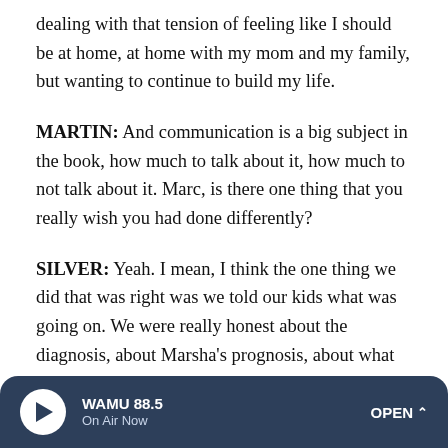dealing with that tension of feeling like I should be at home, at home with my mom and my family, but wanting to continue to build my life.
MARTIN: And communication is a big subject in the book, how much to talk about it, how much to not talk about it. Marc, is there one thing that you really wish you had done differently?
SILVER: Yeah. I mean, I think the one thing we did that was right was we told our kids what was going on. We were really honest about the diagnosis, about Marsha's prognosis, about what the treatments were like. But we never, ever asked them, hey, guys, how are you doing? And I think a lot of parents of teens have that same situation. You're so
WAMU 88.5 On Air Now OPEN